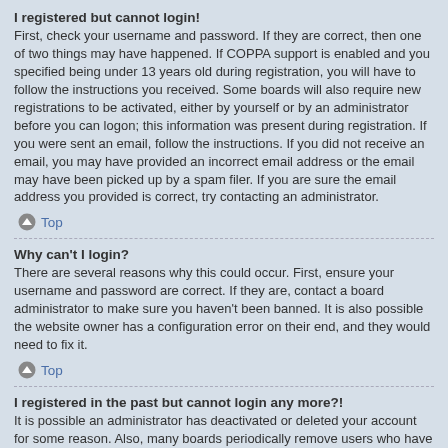I registered but cannot login!
First, check your username and password. If they are correct, then one of two things may have happened. If COPPA support is enabled and you specified being under 13 years old during registration, you will have to follow the instructions you received. Some boards will also require new registrations to be activated, either by yourself or by an administrator before you can logon; this information was present during registration. If you were sent an email, follow the instructions. If you did not receive an email, you may have provided an incorrect email address or the email may have been picked up by a spam filer. If you are sure the email address you provided is correct, try contacting an administrator.
Top
Why can't I login?
There are several reasons why this could occur. First, ensure your username and password are correct. If they are, contact a board administrator to make sure you haven't been banned. It is also possible the website owner has a configuration error on their end, and they would need to fix it.
Top
I registered in the past but cannot login any more?!
It is possible an administrator has deactivated or deleted your account for some reason. Also, many boards periodically remove users who have not posted for a long time to reduce the size of the database. If this has happened, try registering again and being more involved in discussions.